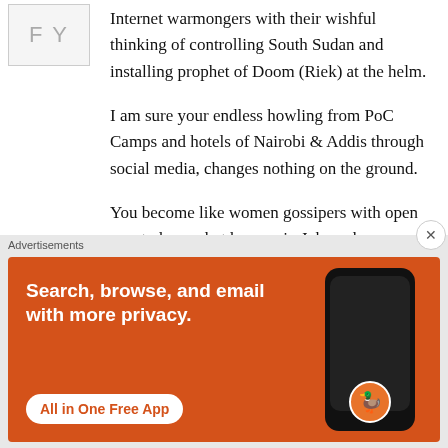[Figure (logo): Small logo image in top-left corner with letters F and Y visible]
Internet warmongers with their wishful thinking of controlling South Sudan and installing prophet of Doom (Riek) at the helm.
I am sure your endless howling from PoC Camps and hotels of Nairobi & Addis through social media, changes nothing on the ground.
You become like women gossipers with open ears to hear what happen in Juba, who
Advertisements
[Figure (infographic): DuckDuckGo advertisement banner on orange background. Text: Search, browse, and email with more privacy. All in One Free App. Shows a phone with DuckDuckGo logo.]